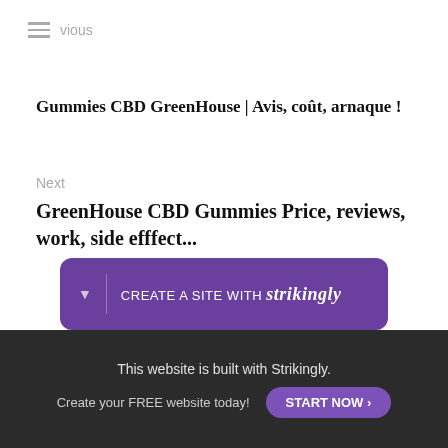vious
Gummies CBD GreenHouse | Avis, coût, arnaque !
Next
GreenHouse CBD Gummies Price, reviews, work, side efffect...
< Return to site
[Figure (other): Social sharing icons: Facebook, Twitter, LinkedIn, Email]
Powered by Strikingly
[Figure (other): Purple banner: CREATE A SITE WITH strikingly]
This website is built with Strikingly. Create your FREE website today! START NOW >